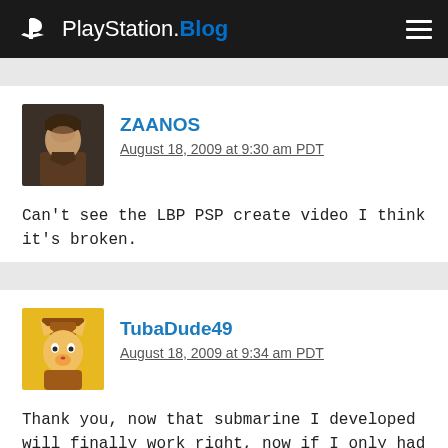PlayStation.Blog
ZAANOS
August 18, 2009 at 9:30 am PDT
Can't see the LBP PSP create video I think it's broken.
TubaDude49
August 18, 2009 at 9:34 am PDT
Thank you, now that submarine I developed will finally work right, now if I only had magnets.